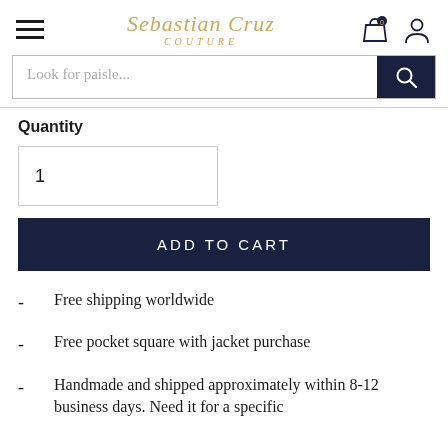Sebastian Cruz Couture
Look for paisle...
Quantity
1
ADD TO CART
Free shipping worldwide
Free pocket square with jacket purchase
Handmade and shipped approximately within 8-12 business days. Need it for a specific